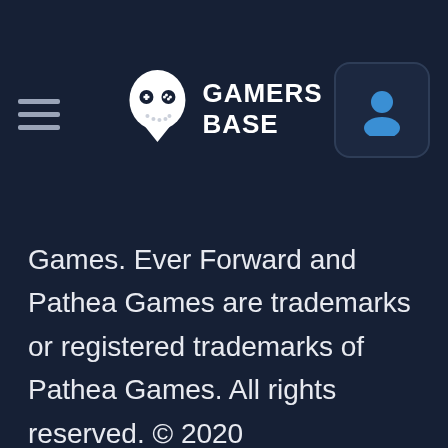[Figure (logo): Gamers Base logo with gamer mask icon and text 'GAMERS BASE', hamburger menu icon on left, user profile icon button on right]
Games. Ever Forward and Pathea Games are trademarks or registered trademarks of Pathea Games. All rights reserved. © 2020
[Figure (infographic): Bottom navigation bar with shopping cart icon showing '0' badge on left and search magnifying glass icon on right]